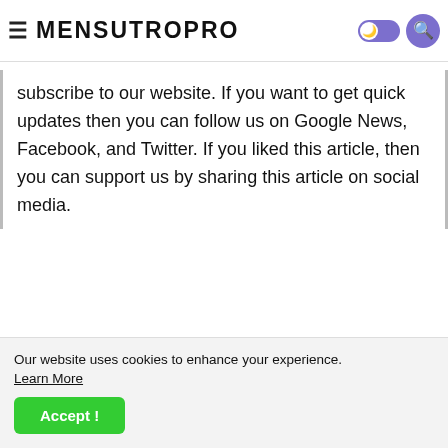MENSUTROPRO
subscribe to our website. If you want to get quick updates then you can follow us on Google News, Facebook, and Twitter. If you liked this article, then you can support us by sharing this article on social media.
Our website uses cookies to enhance your experience. Learn More
Accept !